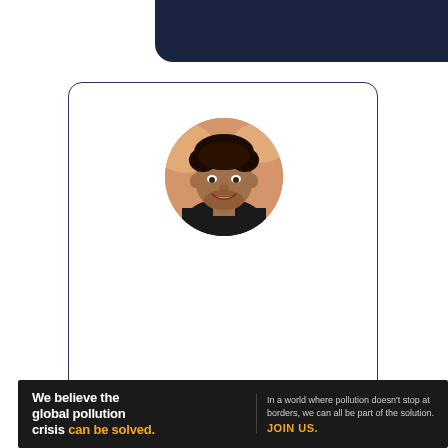[Figure (other): Dark navy header bar at top of page, partially cropped]
[Figure (other): Profile card with rounded border containing a circular profile photo of a young man smiling, and the name 'Suprabhat' in bold below]
Suprabhat
[Figure (other): Advertisement banner for Pure Earth with dark background. Left text: 'We believe the global pollution crisis can be solved.' Middle text: 'In a world where pollution doesn't stop at borders, we can all be part of the solution. JOIN US.' Right: Pure Earth logo with diamond/leaf icon.]